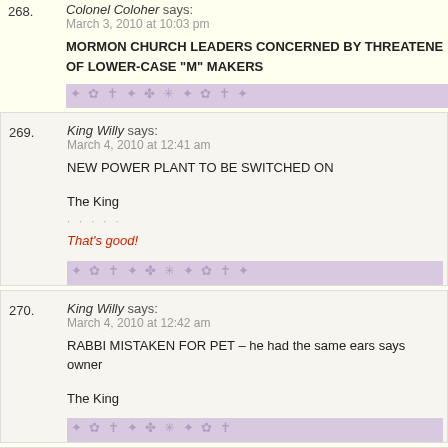268. Colonel Coloher says: March 3, 2010 at 10:03 pm MORMON CHURCH LEADERS CONCERNED BY THREATENED OF LOWER-CASE "M" MAKERS
269. King Willy says: March 4, 2010 at 12:41 am NEW POWER PLANT TO BE SWITCHED ON

The King

That's good!
270. King Willy says: March 4, 2010 at 12:42 am RABBI MISTAKEN FOR PET – he had the same ears says owner

The King
271. King Willy says: